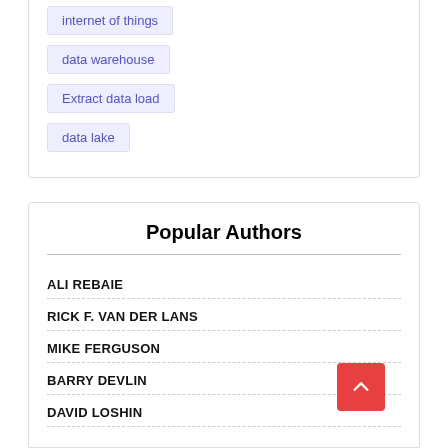internet of things
data warehouse
Extract data load
data lake
Popular Authors
ALI REBAIE
RICK F. VAN DER LANS
MIKE FERGUSON
BARRY DEVLIN
DAVID LOSHIN